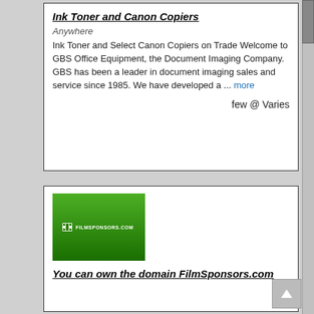Ink Toner and Canon Copiers
Anywhere
Ink Toner and Select Canon Copiers on Trade Welcome to GBS Office Equipment, the Document Imaging Company. GBS has been a leader in document imaging sales and service since 1985. We have developed a ... more
few @ Varies
[Figure (logo): Green gradient logo image with text FILMSPONSORS.COM and a small film reel icon]
You can own the domain FilmSponsors.com